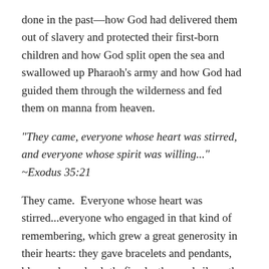done in the past—how God had delivered them out of slavery and protected their first-born children and how God split open the sea and swallowed up Pharaoh's army and how God had guided them through the wilderness and fed them on manna from heaven.
“They came, everyone whose heart was stirred, and everyone whose spirit was willing...”  ~Exodus 35:21
They came.  Everyone whose heart was stirred...everyone who engaged in that kind of remembering, which grew a great generosity in their hearts: they gave bracelets and pendants, blue and purple cloth, fine leather and silver, the yarn spun by their hands and the oil for lamps, they gave and they gave.
And what they offered up was both precious and personal.